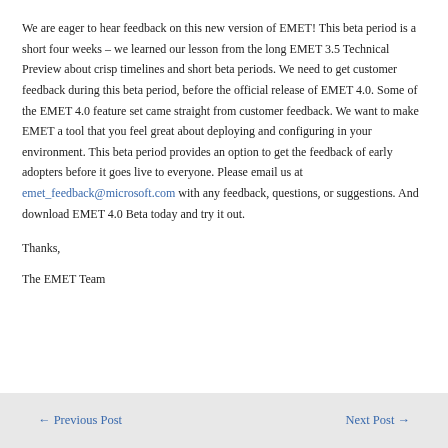We are eager to hear feedback on this new version of EMET!  This beta period is a short four weeks – we learned our lesson from the long EMET 3.5 Technical Preview about crisp timelines and short beta periods.  We need to get customer feedback during this beta period, before the official release of EMET 4.0.  Some of the EMET 4.0 feature set came straight from customer feedback. We want to make EMET a tool that you feel great about deploying and configuring in your environment.  This beta period provides an option to get the feedback of early adopters before it goes live to everyone.  Please email us at emet_feedback@microsoft.com with any feedback, questions, or suggestions.  And download EMET 4.0 Beta today and try it out.
Thanks,
The EMET Team
← Previous Post    Next Post →